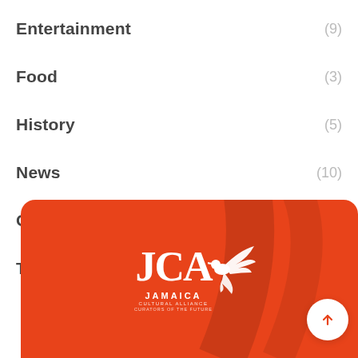Entertainment (9)
Food (3)
History (5)
News (10)
Our Future (1)
Travel (2)
[Figure (logo): Jamaica Cultural Alliance (JCA) logo in white on orange background with bird/hummingbird graphic. Text reads JAMAICA CULTURAL ALLIANCE, Curators of the Future.]